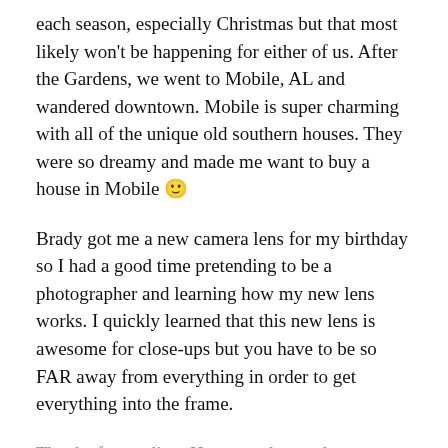each season, especially Christmas but that most likely won't be happening for either of us. After the Gardens, we went to Mobile, AL and wandered downtown. Mobile is super charming with all of the unique old southern houses. They were so dreamy and made me want to buy a house in Mobile 🙂
Brady got me a new camera lens for my birthday so I had a good time pretending to be a photographer and learning how my new lens works. I quickly learned that this new lens is awesome for close-ups but you have to be so FAR away from everything in order to get everything into the frame.
Thanks for reading. Hope you have a happy Monday!